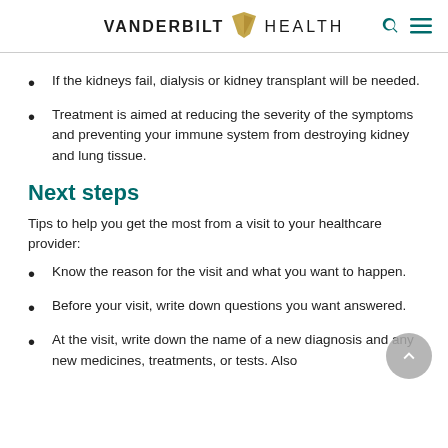VANDERBILT HEALTH
If the kidneys fail, dialysis or kidney transplant will be needed.
Treatment is aimed at reducing the severity of the symptoms and preventing your immune system from destroying kidney and lung tissue.
Next steps
Tips to help you get the most from a visit to your healthcare provider:
Know the reason for the visit and what you want to happen.
Before your visit, write down questions you want answered.
At the visit, write down the name of a new diagnosis and any new medicines, treatments, or tests. Also